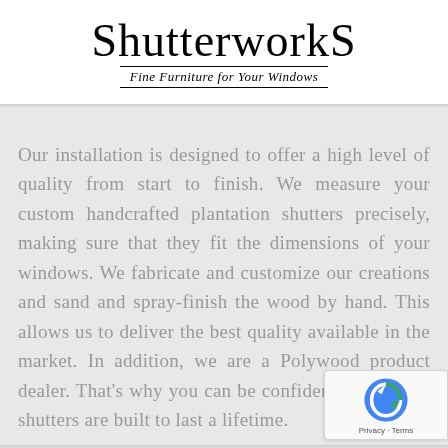[Figure (logo): Shutterworks logo with large serif text 'ShutterworkS' and subtitle 'Fine Furniture for Your Windows' in italic text between two horizontal lines]
Our installation is designed to offer a high level of quality from start to finish. We measure your custom handcrafted plantation shutters precisely, making sure that they fit the dimensions of your windows. We fabricate and customize our creations and sand and spray-finish the wood by hand. This allows us to deliver the best quality available in the market. In addition, we are a Polywood product dealer. That's why you can be confident that all our shutters are built to last a lifetime.